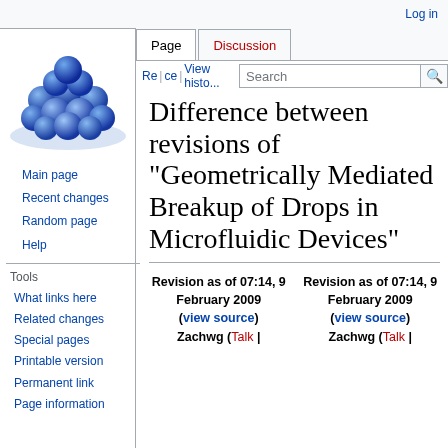Log in
[Figure (illustration): Wikipedia logo: cluster of blue spheres/molecules in a bowl shape]
Main page
Recent changes
Random page
Help
Tools
What links here
Related changes
Special pages
Printable version
Permanent link
Page information
Difference between revisions of "Geometrically Mediated Breakup of Drops in Microfluidic Devices"
Revision as of 07:14, 9 February 2009 (view source)
Zachwg (Talk |
Revision as of 07:14, 9 February 2009 (view source)
Zachwg (Talk |